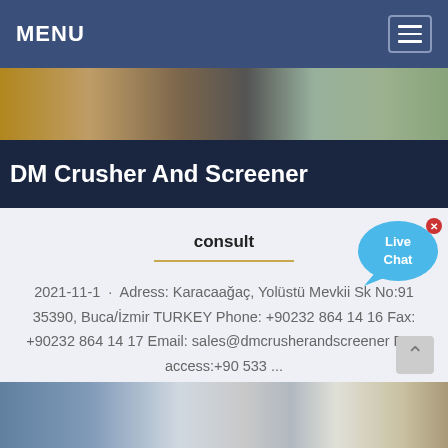MENU
[Figure (photo): Top photo strip showing construction/industrial equipment outdoors]
DM Crusher And Screener
consult
2021-11-1 · Adress: Karacaağaç, Yolüstü Mevkii Sk No:91 35390, Buca/İzmir TURKEY Phone: +90232 864 14 16 Fax: +90232 864 14 17 Email: sales@dmcrusherandscreener Fast access:+90 533 ...
[Figure (photo): Bottom photo strip showing industrial plant/factory with silos and conveyor structures]